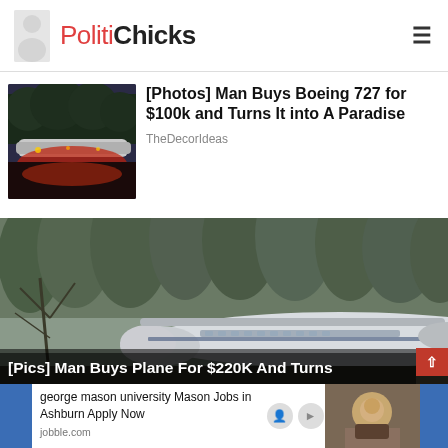PolitiChicks
[Figure (photo): Thumbnail photo of a Boeing 727 airplane converted into a home, lit up at night with red lighting underneath]
[Photos] Man Buys Boeing 727 for $100k and Turns It into A Paradise
TheDecorIdeas
[Figure (photo): Large photo of a Boeing airplane fuselage parked among tall trees in a forested area, with text overlay at the bottom]
[Pics] Man Buys Plane For $220K And Turns
george mason university Mason Jobs in Ashburn Apply Now jobble.com